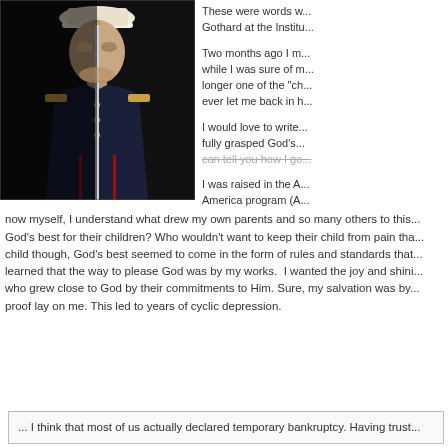[Figure (photo): A US Marine in dress uniform holding a sword upright in front of his face against a dark background]
These were words w... Gothard at the Institu...
Two months ago I m... while I was sure of m... longer one of the "ch... ever let me back in h...
I would love to write... fully grasped God's... can tell you how I go...
I was raised in the A... America program (A... now myself, I understand what drew my own parents and so many others to this... God's best for their children? Who wouldn't want to keep their child from pain tha... child though, God's best seemed to come in the form of rules and standards that... learned that the way to please God was by my works. I wanted the joy and shini... who grew close to God by their commitments to Him. Sure, my salvation was by... proof lay on me. This led to years of cyclic depression.
... I think that most of us actually declared temporary bankruptcy. Having trust...